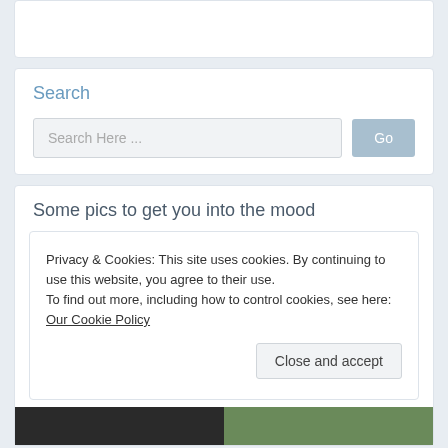[Figure (screenshot): Top white card, partially visible, clipped at the top of the page]
Search
[Figure (screenshot): Search input box with placeholder text 'Search Here ...' and a blue-grey 'Go' button]
Some pics to get you into the mood
Privacy & Cookies: This site uses cookies. By continuing to use this website, you agree to their use.
To find out more, including how to control cookies, see here: Our Cookie Policy
Close and accept